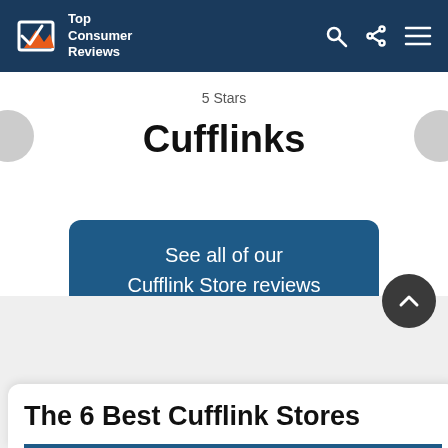Top Consumer Reviews
5 Stars
Cufflinks
See all of our Cufflink Store reviews
The 6 Best Cufflink Stores